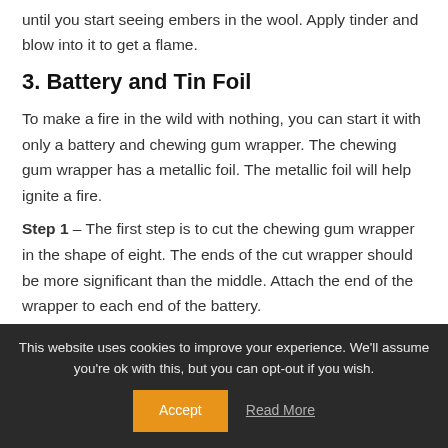until you start seeing embers in the wool. Apply tinder and blow into it to get a flame.
3. Battery and Tin Foil
To make a fire in the wild with nothing, you can start it with only a battery and chewing gum wrapper. The chewing gum wrapper has a metallic foil. The metallic foil will help ignite a fire.
Step 1 – The first step is to cut the chewing gum wrapper in the shape of eight. The ends of the cut wrapper should be more significant than the middle. Attach the end of the wrapper to each end of the battery.
This website uses cookies to improve your experience. We'll assume you're ok with this, but you can opt-out if you wish.